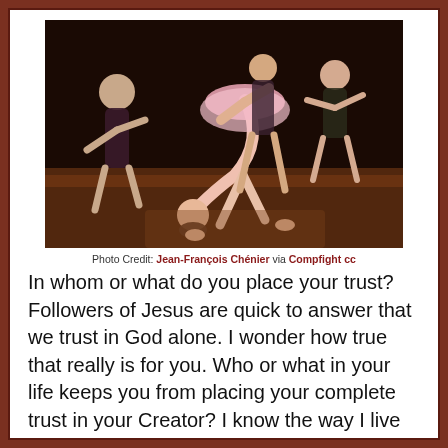[Figure (photo): Ballet dancers on a stage with dark background; one dancer in a pink tutu bends backward dramatically while another supports her, a third dancer visible in background]
Photo Credit: Jean-François Chénier via Compfight cc
In whom or what do you place your trust? Followers of Jesus are quick to answer that we trust in God alone. I wonder how true that really is for you. Who or what in your life keeps you from placing your complete trust in your Creator? I know the way I live often betrays my assertion that I trust God for everything.  If I really trusted God, would I be making so many plans to eliminate as